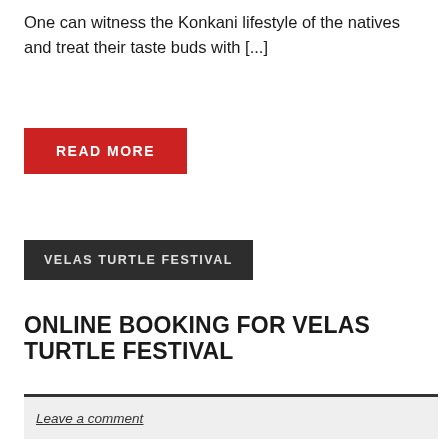One can witness the Konkani lifestyle of the natives and treat their taste buds with [...]
READ MORE
VELAS TURTLE FESTIVAL
ONLINE BOOKING FOR VELAS TURTLE FESTIVAL
Leave a comment
[Figure (photo): Ocean waves with white foam crashing, overcast sky in the background]